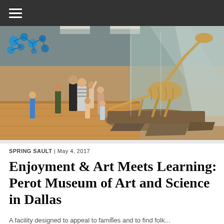≡
[Figure (photo): Interior of a science museum exhibiting a large dinosaur skeleton on a raised rocky platform, with a group of families and children gathered around it. The museum has large glass walls letting in natural light, high ceilings, and a smooth wooden floor. Blue molecular model structures hang from the ceiling on the left.]
SPRING SAULT | May 4, 2017
Enjoyment & Art Meets Learning: Perot Museum of Art and Science in Dallas
A facility designed to appeal to families and to find folk...